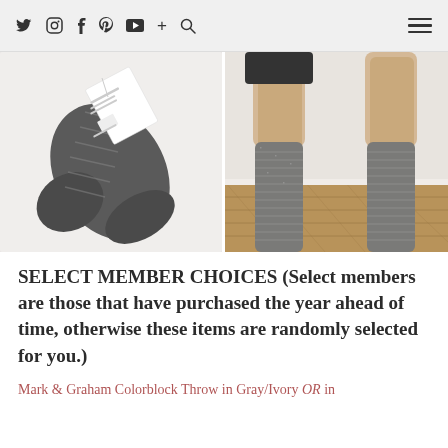Twitter Instagram Facebook Pinterest YouTube + Search [hamburger menu]
[Figure (photo): Two photos side by side: left shows a gray marled sock laid flat on a white fluffy rug with a white product label tag; right shows a person wearing long over-the-knee gray marled knit socks standing on a wood floor against a white wall.]
SELECT MEMBER CHOICES (Select members are those that have purchased the year ahead of time, otherwise these items are randomly selected for you.)
Mark & Graham Colorblock Throw in Gray/Ivory OR in